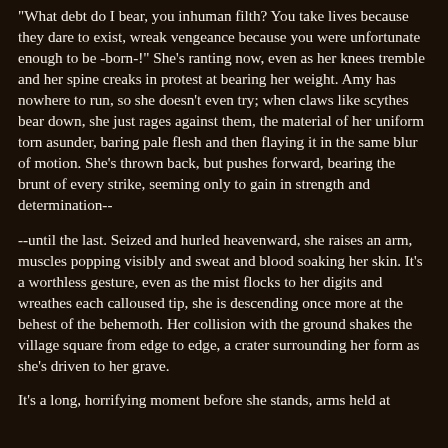"What debt do I bear, you inhuman filth? You take lives because they dare to exist, wreak vengeance because you were unfortunate enough to be -born-!" She's ranting now, even as her knees tremble and her spine creaks in protest at bearing her weight. Amy has nowhere to run, so she doesn't even try; when claws like scythes bear down, she just rages against them, the material of her uniform torn asunder, baring pale flesh and then flaying it in the same blur of motion. She's thrown back, but pushes forward, bearing the brunt of every strike, seeming only to gain in strength and determination--
--until the last. Seized and hurled heavenward, she raises an arm, muscles popping visibly and sweat and blood soaking her skin. It's a worthless gesture, even as the mist flocks to her digits and wreathes each calloused tip, she is descending once more at the behest of the behemoth. Her collision with the ground shakes the village square from edge to edge, a crater surrounding her form as she's driven to her grave.
It's a long, horrifying moment before she stands, arms held at